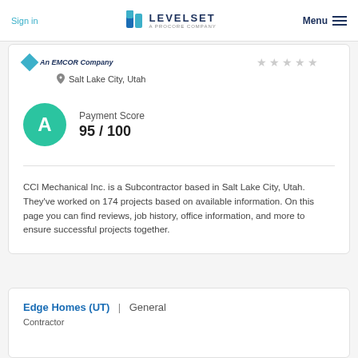Sign in | LEVELSET A PROCORE COMPANY | Menu
An EMCOR Company
Salt Lake City, Utah
Payment Score 95 / 100
CCI Mechanical Inc. is a Subcontractor based in Salt Lake City, Utah. They've worked on 174 projects based on available information. On this page you can find reviews, job history, office information, and more to ensure successful projects together.
Edge Homes (UT) | General Contractor